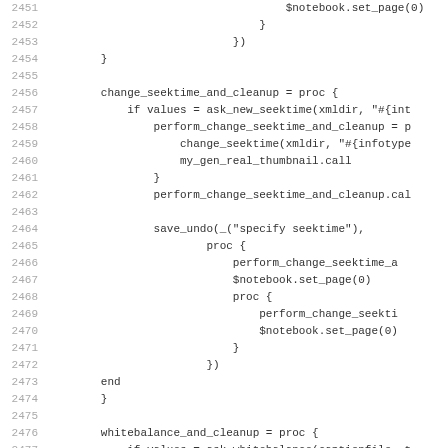[Figure (screenshot): Source code listing showing Ruby/Tcl code lines 2451-2483 with line numbers on the left and code on the right, including proc definitions for change_seektime_and_cleanup and whitebalance_and_cleanup functions.]